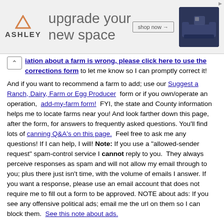[Figure (other): Ashley Furniture advertisement banner with logo, 'upgrade your new space' headline, shop now button, and sofa image]
iation about a farm is wrong, please click here to use the corrections form to let me know so I can promptly correct it!
And if you want to recommend a farm to add; use our Suggest a Ranch, Dairy, Farm or Egg Producer form or if you own/operate an operation, add-my-farm form! FYI, the state and County information helps me to locate farms near you! And look farther down this page, after the form, for answers to frequently asked questions. You'll find lots of canning Q&A's on this page. Feel free to ask me any questions! If I can help, I will! Note: If you use a "allowed-sender request" spam-control service I cannot reply to you. They always perceive responses as spam and will not allow my email through to you; plus there just isn't time, with the volume of emails I answer. If you want a response, please use an email account that does not require me to fill out a form to be approved. NOTE about ads: If you see any offensive political ads; email me the url on them so I can block them. See this note about ads.
[Figure (other): SPAM logo image with red border and strikethrough]